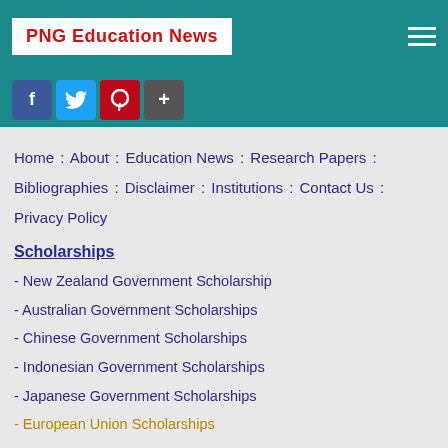PNG Education News
[Figure (other): Social media share buttons: Facebook, Twitter, Pinterest, Share+]
Home : About : Education News : Research Papers : Bibliographies : Disclaimer : Institutions : Contact Us : Privacy Policy
Scholarships
- New Zealand Government Scholarship
- Australian Government Scholarships
- Chinese Government Scholarships
- Indonesian Government Scholarships
- Japanese Government Scholarships
- European Union Scholarships